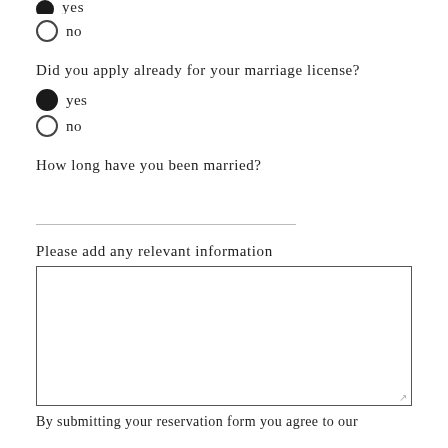yes (selected, cropped at top)
no
Did you apply already for your marriage license?
yes (selected)
no
How long have you been married?
Please add any relevant information
By submitting your reservation form you agree to our